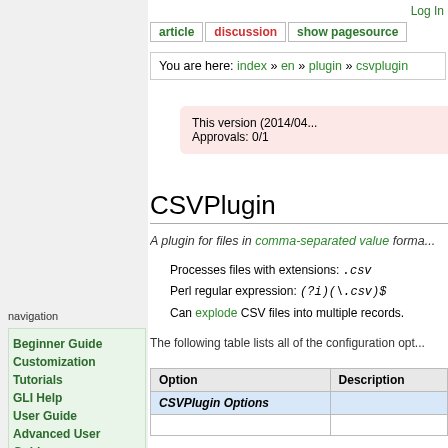Log In
article | discussion | show pagesource
You are here: index » en » plugin » csvplugin
This version (2014/04... Approvals: 0/1
CSVPlugin
A plugin for files in comma-separated value forma...
Processes files with extensions: .csv
Perl regular expression: (?i)(\.csv)$
Can explode CSV files into multiple records.
The following table lists all of the configuration opt...
| Option | Description |
| --- | --- |
| CSVPlugin Options |  |